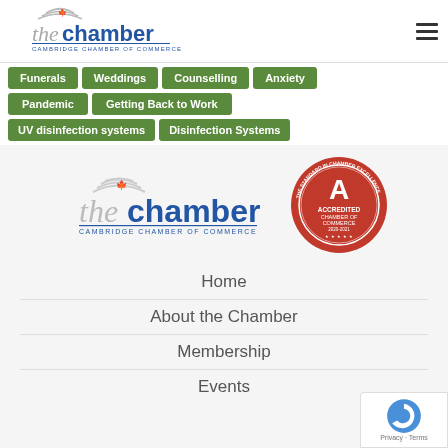[Figure (logo): Cambridge Chamber of Commerce logo - 'the chamber' wordmark with maple leaf and subtitle 'CAMBRIDGE CHAMBER OF COMMERCE' in blue]
Funerals
Weddings
Counselling
Anxiety
Pandemic
Getting Back to Work
UV disinfection systems
Disinfection Systems
[Figure (logo): Cambridge Chamber of Commerce large gray/blue logo]
[Figure (logo): Accredited Chamber of Commerce 2020-2021 seal - red circular badge with 'A' and text 'THE STANDARD IN CHAMBER EXCELLENCE']
Home
About the Chamber
Membership
Events